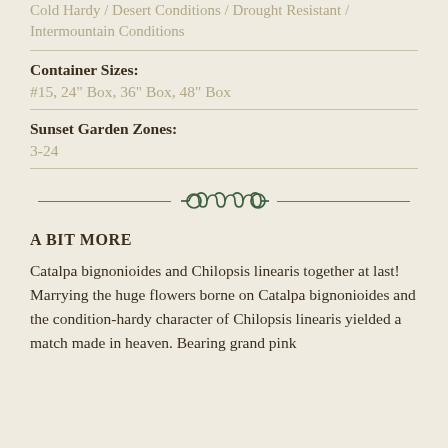Cold Hardy / Desert Conditions / Drought Resistant / Intermountain Conditions
Container Sizes:
#15, 24" Box, 36" Box, 48" Box
Sunset Garden Zones:
3-24
[Figure (illustration): Decorative ornamental divider with scrollwork design in dark green]
A BIT MORE
Catalpa bignonioides and Chilopsis linearis together at last! Marrying the huge flowers borne on Catalpa bignonioides and the condition-hardy character of Chilopsis linearis yielded a match made in heaven. Bearing grand pink